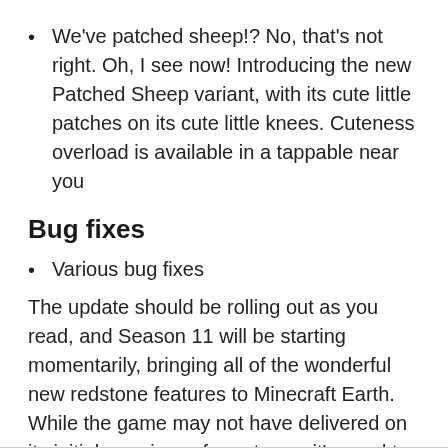We've patched sheep!? No, that's not right. Oh, I see now! Introducing the new Patched Sheep variant, with its cute little patches on its cute little knees. Cuteness overload is available in a tappable near you
Bug fixes
Various bug fixes
The update should be rolling out as you read, and Season 11 will be starting momentarily, bringing all of the wonderful new redstone features to Minecraft Earth. While the game may not have delivered on its initial promises of greatness, it's good to see that the game continues to improve with added features.